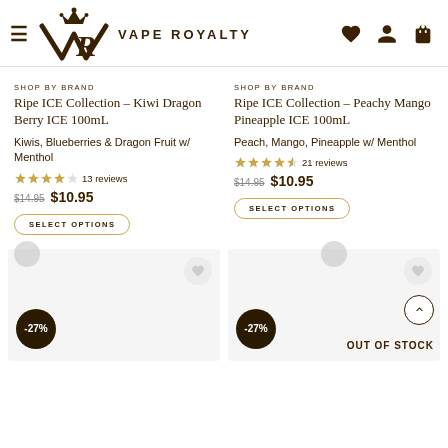VAPE ROYALTY
SHOP BY BRAND
Ripe ICE Collection – Kiwi Dragon Berry ICE 100mL
Kiwis, Blueberries & Dragon Fruit w/ Menthol
★★★★☆ 13 reviews
$14.95  $10.95
SHOP BY BRAND
Ripe ICE Collection – Peachy Mango Pineapple ICE 100mL
Peach, Mango, Pineapple w/ Menthol
★★★★½ 21 reviews
$14.95  $10.95
[Figure (other): Two product cards showing -27% discount badges and wishlist buttons, second card shows OUT OF STOCK label]